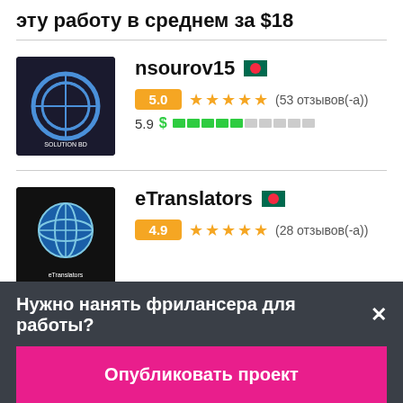эту работу в среднем за $18
[Figure (illustration): Avatar logo for nsourov15: circular blue icon with 'SOLUTION BD' text on dark background]
nsourov15 [Bangladesh flag]
5.0 ★★★★★ (53 отзывов(-а))
5.9 $ [skill bar: 5 filled, 5 empty]
[Figure (illustration): Avatar logo for eTranslators: globe icon with 'eTranslators' text on dark background]
eTranslators [Bangladesh flag]
4.9 ★★★★★ (28 отзывов(-а))
Нужно нанять фрилансера для работы?✕
Опубликовать проект